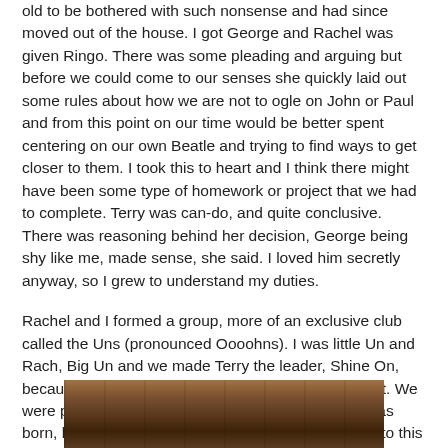old to be bothered with such nonsense and had since moved out of the house.  I got George and Rachel was given Ringo.  There was some pleading and arguing but before we could come to our senses she quickly laid out some rules about how we are not to ogle on John or Paul and from this point on our time would be better spent centering on our own Beatle and trying to find ways to get closer to them.  I took this to heart and I think there might have been some type of homework or project that we had to complete.  Terry was can-do, and quite conclusive.  There was reasoning behind her decision, George being shy like me, made sense, she said.  I loved him secretly anyway, so I grew to understand my duties.
Rachel and I formed a group, more of an exclusive club called the Uns (pronounced Oooohns).  I was little Un and Rach, Big Un and we made Terry the leader, Shine On, because she couldn't pronounce the name quite right.  We were pretty young and I'm not sure how the name was born, but it stuck for several years and we still use it to this day with affection.
[Figure (photo): Bottom portion of a photograph showing what appears to be people or objects in warm brown/amber tones, partially visible at the bottom of the page.]